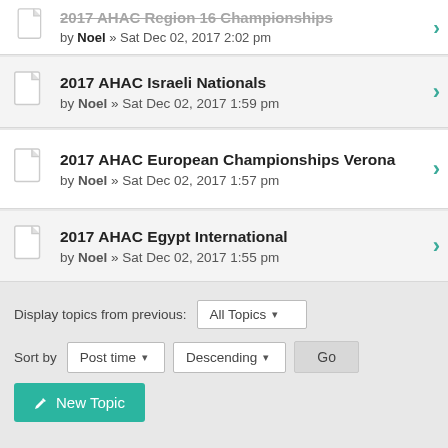2017 AHAC Israeli Nationals by Noel » Sat Dec 02, 2017 1:59 pm
2017 AHAC European Championships Verona by Noel » Sat Dec 02, 2017 1:57 pm
2017 AHAC Egypt International by Noel » Sat Dec 02, 2017 1:55 pm
Display topics from previous: All Topics
Sort by Post time Descending Go
New Topic